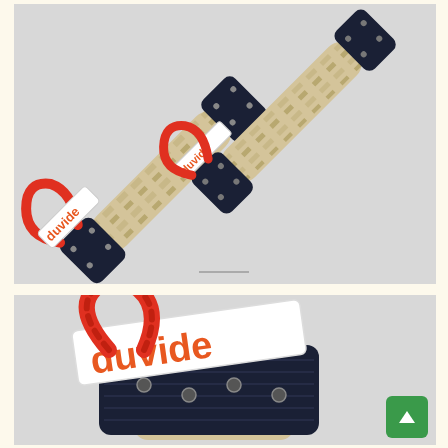[Figure (photo): Two rope dog tug toys by Duvide brand, with navy blue leather/fabric ends and red loop handles, shown against a light gray background. One is positioned diagonally upper left and another diagonally upper right.]
[Figure (photo): Close-up of a Duvide branded rope dog toy showing the white branded tag with orange 'duvide' text, a red twisted rope loop handle, and a dark navy blue fabric/nylon wrapped end securing the natural hemp rope.]